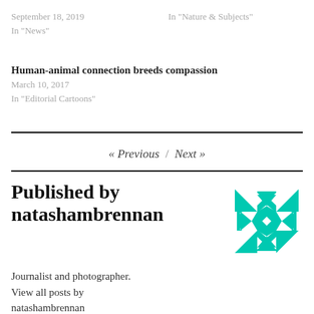September 18, 2019
In "News"
In "Nature & Subjects"
Human-animal connection breeds compassion
March 10, 2017
In "Editorial Cartoons"
« Previous  /  Next »
Published by natashambrennan
[Figure (logo): Teal/turquoise geometric snowflake/star logo avatar for natashambrennan]
Journalist and photographer.
View all posts by natashambrennan